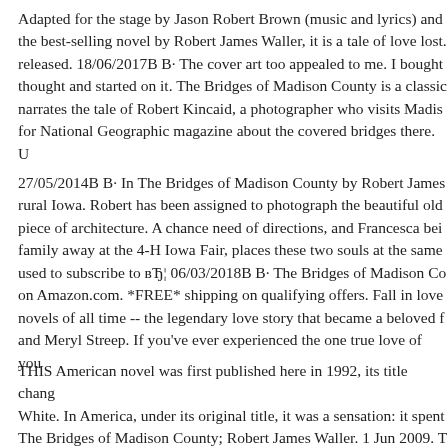Adapted for the stage by Jason Robert Brown (music and lyrics) and the best-selling novel by Robert James Waller, it is a tale of love lost. released. 18/06/2017B B· The cover art too appealed to me. I bought thought and started on it. The Bridges of Madison County is a classic narrates the tale of Robert Kincaid, a photographer who visits Madis for National Geographic magazine about the covered bridges there. U
27/05/2014B B· In The Bridges of Madison County by Robert James rural Iowa. Robert has been assigned to photograph the beautiful old piece of architecture. A chance need of directions, and Francesca bei family away at the 4-H Iowa Fair, places these two souls at the same used to subscribe to вЂ¦ 06/03/2018B B· The Bridges of Madison Co on Amazon.com. *FREE* shipping on qualifying offers. Fall in love novels of all time -- the legendary love story that became a beloved f and Meryl Streep. If you've ever experienced the one true love of you
THIS American novel was first published here in 1992, its title chang White. In America, under its original title, it was a sensation: it spent The Bridges of Madison County; Robert James Waller. 1 Jun 2009. T